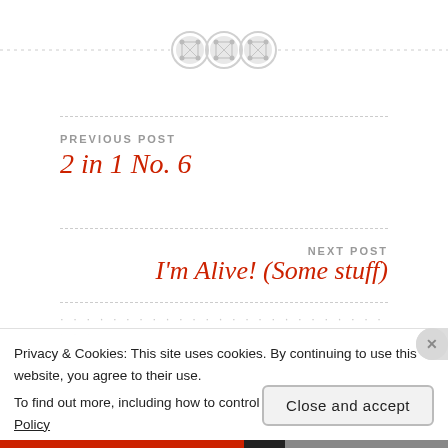[Figure (illustration): Three decorative button/gear icons in a row on a dashed horizontal line divider]
PREVIOUS POST
2 in 1 No. 6
NEXT POST
I'm Alive! (Some stuff)
Privacy & Cookies: This site uses cookies. By continuing to use this website, you agree to their use.
To find out more, including how to control cookies, see here: Cookie Policy
Close and accept